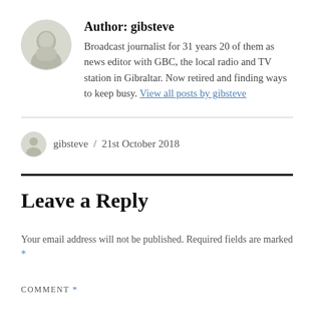Author: gibsteve
Broadcast journalist for 31 years 20 of them as news editor with GBC, the local radio and TV station in Gibraltar. Now retired and finding ways to keep busy. View all posts by gibsteve
gibsteve / 21st October 2018
Leave a Reply
Your email address will not be published. Required fields are marked *
COMMENT *